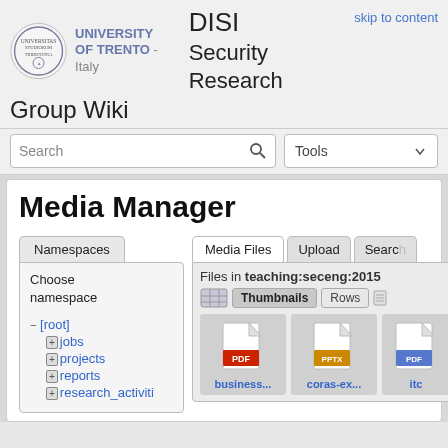UNIVERSITY OF TRENTO - Italy | DISI Security Research Group Wiki
skip to content
Search | Tools
Media Manager
Namespaces
Choose namespace
Media Files | Upload | Search
Files in teaching:seceng:2015
Thumbnails  Rows
− [root]
+ jobs
+ projects
+ reports
+ research_activiti
[Figure (screenshot): PDF file icon labeled business...]
[Figure (screenshot): PPTX file icon labeled coras-ex...]
[Figure (screenshot): Partially visible file icon labeled itc...]